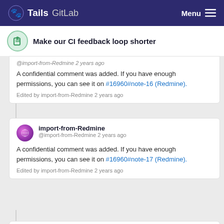Tails GitLab  Menu
Make our CI feedback loop shorter
@import-from-Redmine 2 years ago
A confidential comment was added. If you have enough permissions, you can see it on #16960#note-16 (Redmine).

Edited by import-from-Redmine 2 years ago
import-from-Redmine
@import-from-Redmine 2 years ago
A confidential comment was added. If you have enough permissions, you can see it on #16960#note-17 (Redmine).

Edited by import-from-Redmine 2 years ago
intrigeri
@intrigeri 2 years ago
Maintainer
Originally posted by @intrigeri #16960#note-18